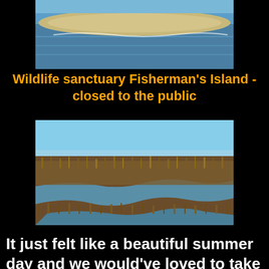[Figure (photo): Aerial or distant view of Fisherman's Island showing sandy beach and blue water]
Wildlife sanctuary Fisherman's Island - closed to the public
[Figure (photo): Marshland landscape with brown wetland grasses, water channels, and blue sky]
It just felt like a beautiful summer day and we would've loved to take a long walk along the white beach, but of course, after about 30 minutes at a look-out, we had to continue towards Lewes, Delaware, from where we